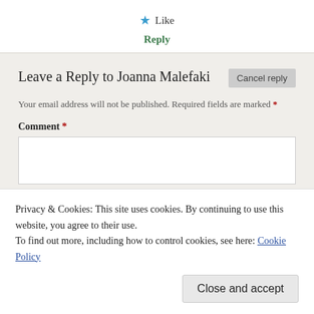★ Like
Reply
Leave a Reply to Joanna Malefaki
Your email address will not be published. Required fields are marked *
Comment *
Privacy & Cookies: This site uses cookies. By continuing to use this website, you agree to their use.
To find out more, including how to control cookies, see here: Cookie Policy
Close and accept